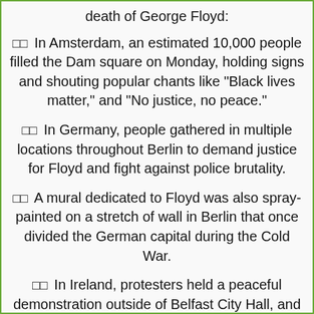In Amsterdam, an estimated 10,000 people filled the Dam square on Monday, holding signs and shouting popular chants like "Black lives matter," and "No justice, no peace."
In Germany, people gathered in multiple locations throughout Berlin to demand justice for Floyd and fight against police brutality.
A mural dedicated to Floyd was also spray-painted on a stretch of wall in Berlin that once divided the German capital during the Cold War.
In Ireland, protesters held a peaceful demonstration outside of Belfast City Hall, and others gathered outside of the US embassy in Dublin.
In Italy, protesters gathered and marched with signs